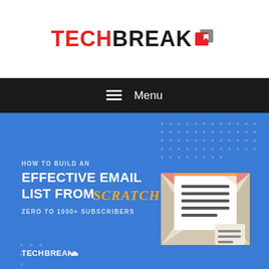TECHBREAK
☰ Menu
[Figure (illustration): Blue banner illustration showing an open envelope with a letter inside and text 'HOW TO BUILD AN EFFECTIVE EMAIL LIST FROM SCRATCH - ZERO TO 1000+ SUBSCRIBERS' with TechBreak logo at bottom left]